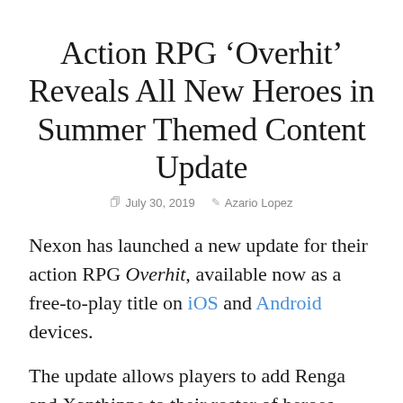Action RPG ‘Overhit’ Reveals All New Heroes in Summer Themed Content Update
🗓 July 30, 2019   ✍ Azario Lopez
Nexon has launched a new update for their action RPG Overhit, available now as a free-to-play title on iOS and Android devices.
The update allows players to add Renga and Xanthippe to their roster of heroes. Renga,